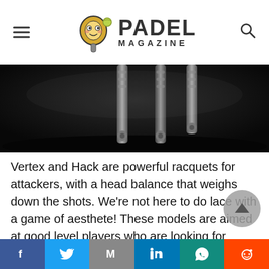Padel Magazine
[Figure (photo): Dark background product photo showing handles/grips of padel racquets standing upright]
Vertex and Hack are powerful racquets for attackers, with a head balance that weighs down the shots. We're not here to do lace with a game of aesthete! These models are aimed at good level players who are looking for power in the first place.
They all have the MultiEva rubber core, made up of two foams of different densities: a less dense inner layer offering more sensation and touch; a more compact outer layer offering more power.
Share bar: Facebook, Twitter, Gmail, LinkedIn, WhatsApp, Reddit